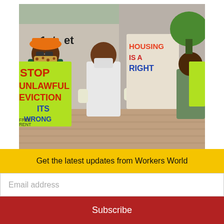[Figure (photo): Protesters holding signs including 'STOP UNLAWFUL EVICTION ITS WRONG' and 'HOUSING IS A RIGHT' at an anti-eviction protest in Miami, July 21.]
Protest against ending the federal eviction moratorium, July 21, Miami.
Now some 3.6 million think it likely they will be put out of their living quarters in the ne...
Get the latest updates from Workers World
Email address
Subscribe